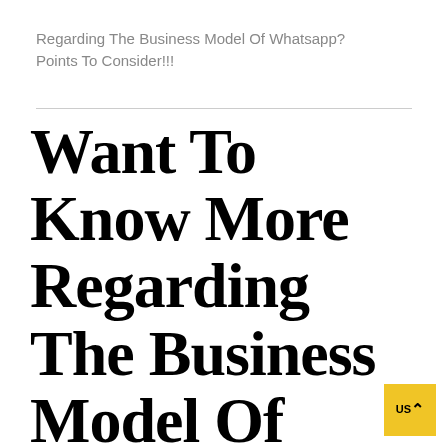Regarding The Business Model Of Whatsapp? Points To Consider!!!
Want To Know More Regarding The Business Model Of Whatsapp? Points To Consider!!!